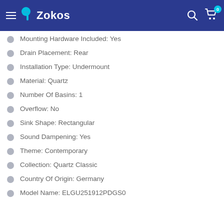Zokos
Mounting Hardware Included: Yes
Drain Placement: Rear
Installation Type: Undermount
Material: Quartz
Number Of Basins: 1
Overflow: No
Sink Shape: Rectangular
Sound Dampening: Yes
Theme: Contemporary
Collection: Quartz Classic
Country Of Origin: Germany
Model Name: ELGU251912PDGS0